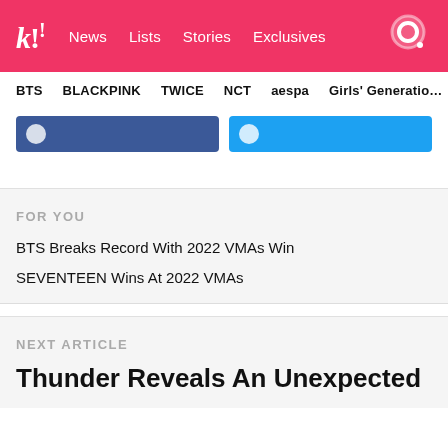Koreaboo — News | Lists | Stories | Exclusives
BTS | BLACKPINK | TWICE | NCT | aespa | Girls' Generation
[Figure (other): Two social sharing buttons: Facebook (blue, #3b5998) and Twitter (light blue, #1da1f2)]
FOR YOU
BTS Breaks Record With 2022 VMAs Win
SEVENTEEN Wins At 2022 VMAs
NEXT ARTICLE
Thunder Reveals An Unexpected